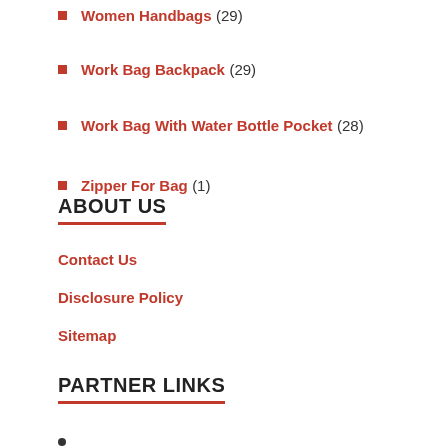Women Handbags (29)
Work Bag Backpack (29)
Work Bag With Water Bottle Pocket (28)
Zipper For Bag (1)
ABOUT US
Contact Us
Disclosure Policy
Sitemap
PARTNER LINKS
•